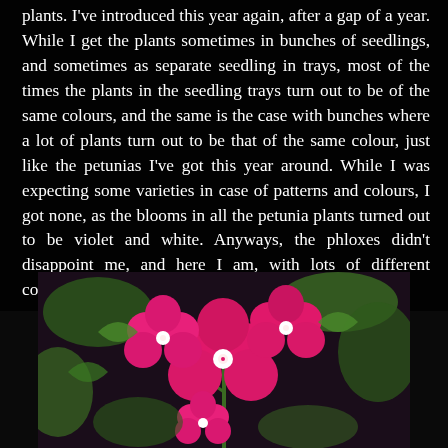plants. I've introduced this year again, after a gap of a year. While I get the plants sometimes in bunches of seedlings, and sometimes as separate seedling in trays, most of the times the plants in the seedling trays turn out to be of the same colours, and the same is the case with bunches where a lot of plants turn out to be that of the same colour, just like the petunias I've got this year around. While I was expecting some varieties in case of patterns and colours, I got none, as the blooms in all the petunia plants turned out to be violet and white. Anyways, the phloxes didn't disappoint me, and here I am, with lots of different colours, which I can't recall seeing yet.
[Figure (photo): Close-up photo of bright pink phlox flowers with white centers, surrounded by green foliage, on a dark background.]